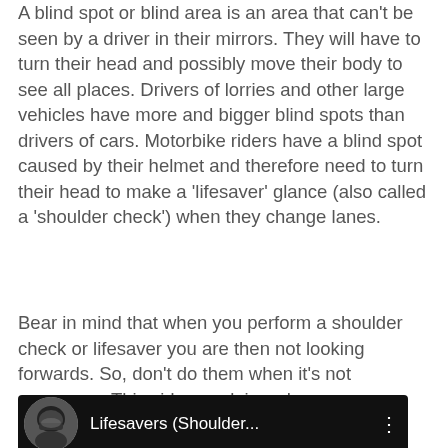A blind spot or blind area is an area that can't be seen by a driver in their mirrors. They will have to turn their head and possibly move their body to see all places. Drivers of lorries and other large vehicles have more and bigger blind spots than drivers of cars. Motorbike riders have a blind spot caused by their helmet and therefore need to turn their head to make a ‘lifesaver’ glance (also called a ‘shoulder check’) when they change lanes.
Bear in mind that when you perform a shoulder check or lifesaver you are then not looking forwards. So, don’t do them when it’s not necessary. This video explains why:
[Figure (screenshot): A YouTube video thumbnail showing a motorcyclist avatar and title 'Lifesavers (Shoulder...' with a three-dot menu icon on a dark/black background.]